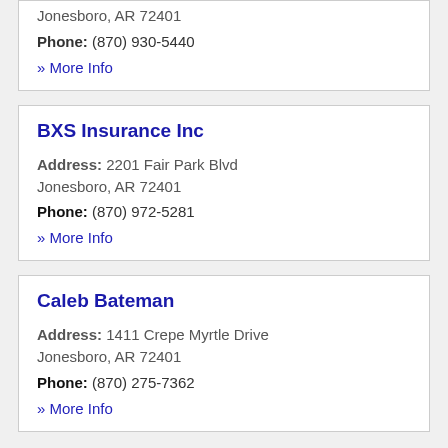Jonesboro, AR 72401
Phone: (870) 930-5440
» More Info
BXS Insurance Inc
Address: 2201 Fair Park Blvd Jonesboro, AR 72401
Phone: (870) 972-5281
» More Info
Caleb Bateman
Address: 1411 Crepe Myrtle Drive Jonesboro, AR 72401
Phone: (870) 275-7362
» More Info